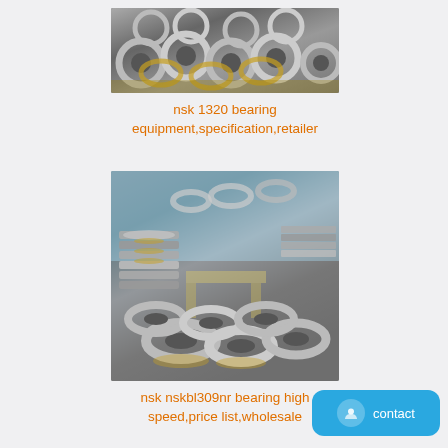[Figure (photo): Photo of multiple NSK ball bearings stacked and arranged on a surface, metallic silver and gold tones]
nsk 1320 bearing equipment,specification,retailer
[Figure (photo): Photo of NSK bearings in a warehouse/factory setting, stacked in large quantities on shelves and floor, metallic bearings]
nsk nskbl309nr bearing high speed,price list,wholesale